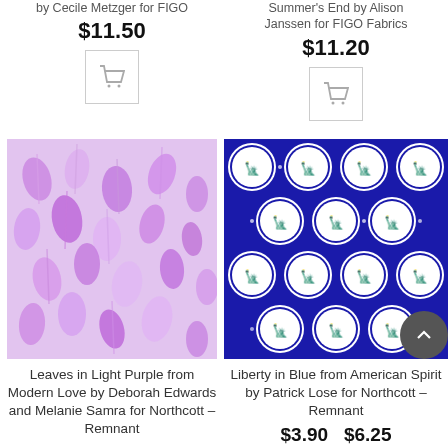by Cecile Metzger for FIGO
$11.50
[Figure (other): Shopping cart button icon left]
Summer's End by Alison Janssen for FIGO Fabrics
$11.20
[Figure (other): Shopping cart button icon right]
[Figure (photo): Fabric swatch: Leaves in Light Purple from Modern Love by Deborah Edwards and Melanie Samra for Northcott – Remnant]
[Figure (photo): Fabric swatch: Liberty in Blue from American Spirit by Patrick Lose for Northcott – Remnant]
Leaves in Light Purple from Modern Love by Deborah Edwards and Melanie Samra for Northcott – Remnant
Liberty in Blue from American Spirit by Patrick Lose for Northcott – Remnant
$3.90  $6.25